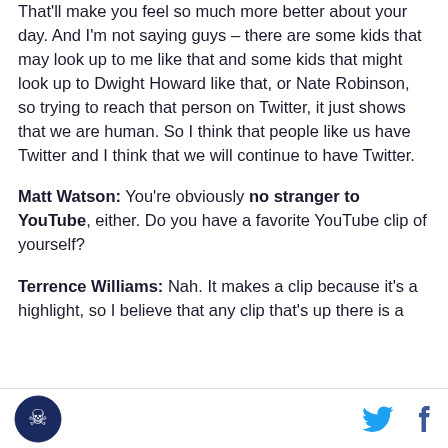That'll make you feel so much more better about your day. And I'm not saying guys – there are some kids that may look up to me like that and some kids that might look up to Dwight Howard like that, or Nate Robinson, so trying to reach that person on Twitter, it just shows that we are human. So I think that people like us have Twitter and I think that we will continue to have Twitter.
Matt Watson: You're obviously no stranger to YouTube, either. Do you have a favorite YouTube clip of yourself?
Terrence Williams: Nah. It makes a clip because it's a highlight, so I believe that any clip that's up there is a